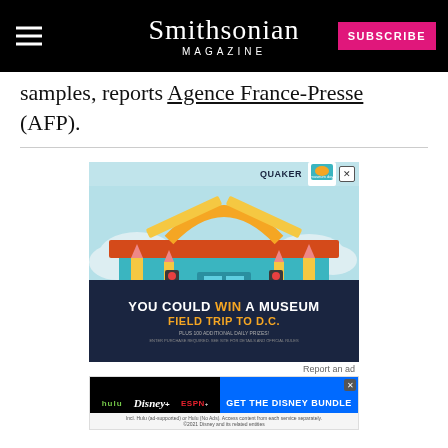Smithsonian Magazine
samples, reports Agence France-Presse (AFP).
[Figure (illustration): Advertisement: Quaker Museum Day promotion. Illustration of a school-themed building with pencils as pillars and a protractor arch, text reads 'YOU COULD WIN A MUSEUM FIELD TRIP TO D.C.' with 'PLUS 100 ADDITIONAL DAILY PRIZES!']
[Figure (illustration): Advertisement: Disney Bundle promotion showing Hulu, Disney+, and ESPN+ logos with blue button 'GET THE DISNEY BUNDLE'. Fine print: 'Incl. Hulu (ad-supported) or Hulu (No Ads). Access content from each service separately. ©2021 Disney and its related entities']